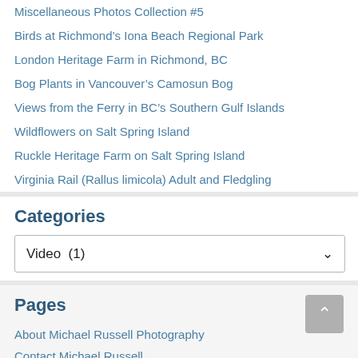Miscellaneous Photos Collection #5
Birds at Richmond's Iona Beach Regional Park
London Heritage Farm in Richmond, BC
Bog Plants in Vancouver's Camosun Bog
Views from the Ferry in BC's Southern Gulf Islands
Wildflowers on Salt Spring Island
Ruckle Heritage Farm on Salt Spring Island
Virginia Rail (Rallus limicola) Adult and Fledgling
Categories
Video  (1)
Pages
About Michael Russell Photography
Contact Michael Russell